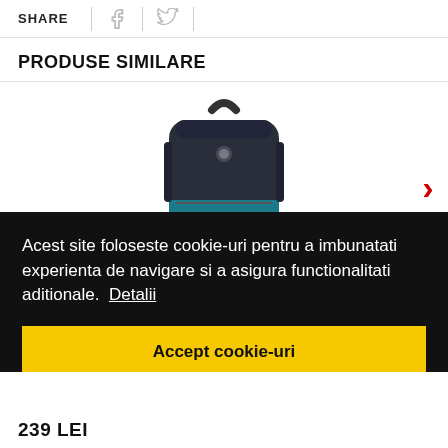SHARE
PRODUSE SIMILARE
[Figure (photo): Dark navy/black backpack with teal accent pocket, shown from front, product image on white background]
Acest site foloseste cookie-uri pentru a imbunatati experienta de navigare si a asigura functionalitati aditionale.  Detalii
Accept cookie-uri
239 LEI